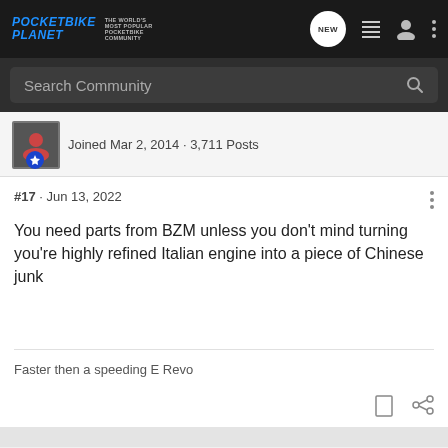POCKETBIKE PLANET — THE WORLD'S MOST POPULAR POCKETBIKE COMMUNITY
Search Community
Joined Mar 2, 2014 · 3,711 Posts
#17 · Jun 13, 2022
You need parts from BZM unless you don't mind turning you're highly refined Italian engine into a piece of Chinese junk
Faster then a speeding E Revo